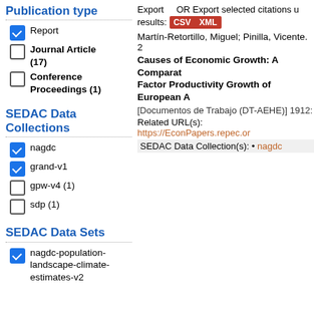Publication type
Report (checked)
Journal Article (17)
Conference Proceedings (1)
SEDAC Data Collections
nagdc (checked)
grand-v1 (checked)
gpw-v4 (1)
sdp (1)
SEDAC Data Sets
nagdc-population-landscape-climate-estimates-v2 (checked)
Export    OR Export selected citations u... results: CSV XML
Martín-Retortillo, Miguel; Pinilla, Vicente. 2
Causes of Economic Growth: A Comparat... Factor Productivity Growth of European A...
[Documentos de Trabajo (DT-AEHE)] 1912:
Related URL(s): https://EconPapers.repec.or
SEDAC Data Collection(s): • nagdc